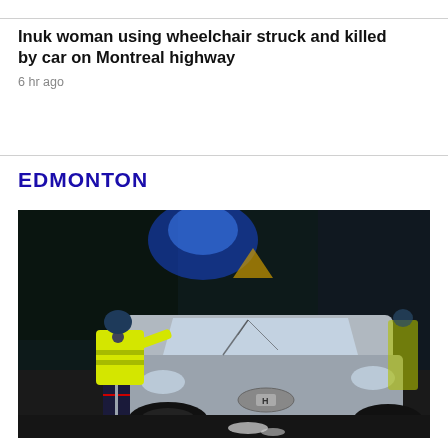Inuk woman using wheelchair struck and killed by car on Montreal highway
6 hr ago
EDMONTON
[Figure (photo): Nighttime accident scene photo showing a silver Honda Civic with a cracked windshield and police officers in yellow reflective vests examining the vehicle on a dark road.]